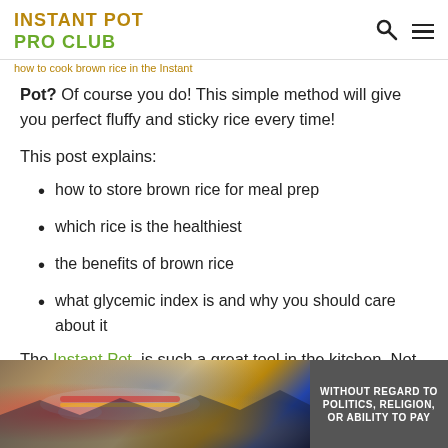INSTANT POT PRO CLUB
how to cook brown rice in the Instant Pot? Of course you do! This simple method will give you perfect fluffy and sticky rice every time!
This post explains:
how to store brown rice for meal prep
which rice is the healthiest
the benefits of brown rice
what glycemic index is and why you should care about it
The Instant Pot is such a great tool in the kitchen. Not only does it simplify cooking, it helps you cook delicious meals that are perfectly suited for nutrition programs like 21 Day Fix
[Figure (photo): Advertisement banner showing an airplane being loaded with cargo, with text overlay 'WITHOUT REGARD TO POLITICS, RELIGION, OR ABILITY TO PAY']